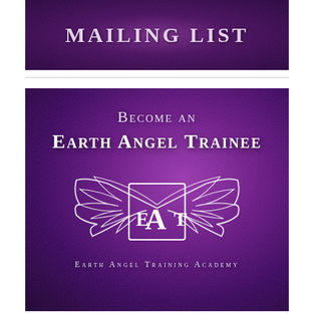[Figure (illustration): Purple textured banner with white serif text reading 'MAILING LIST' in all-caps small-caps style on a dark purple background]
[Figure (illustration): Purple textured banner reading 'Become an Earth Angel Trainee' with the Earth Angel Training Academy logo (EAT letters with angel wings) and text 'Earth Angel Training Academy' at the bottom, all on a dark purple gradient background]